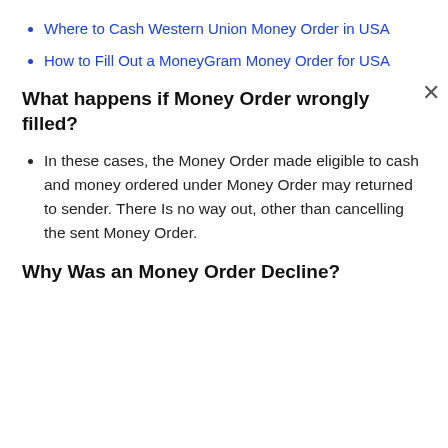Where to Cash Western Union Money Order in USA
How to Fill Out a MoneyGram Money Order for USA
What happens if Money Order wrongly filled?
In these cases, the Money Order made eligible to cash and money ordered under Money Order may returned to sender. There Is no way out, other than cancelling the sent Money Order.
Why Was an Money Order Decline?